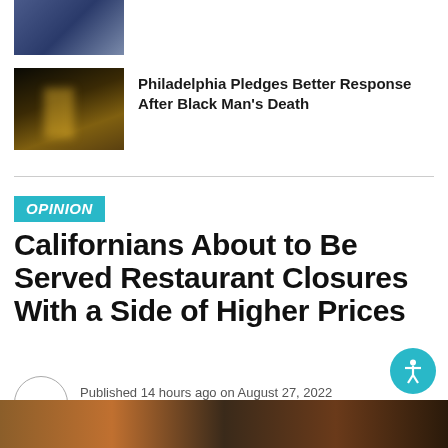[Figure (photo): Small thumbnail image of dark scene, partial view at top]
[Figure (photo): Dark nighttime photo with bright light/fire]
Philadelphia Pledges Better Response After Black Man's Death
OPINION
Californians About to Be Served Restaurant Closures With a Side of Higher Prices
Published 14 hours ago on August 27, 2022
By gvwire
[Figure (photo): Bottom photo strip showing restaurant interior]